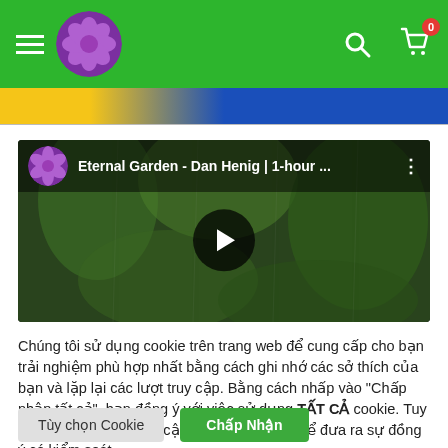Navigation header with hamburger menu, flower logo, search icon, and shopping cart with badge 0
[Figure (screenshot): Banner strip with yellow and blue gradient]
[Figure (screenshot): YouTube-style video thumbnail showing 'Eternal Garden - Dan Henig | 1-hour ...' with play button overlay, green/dark nature background]
Chúng tôi sử dụng cookie trên trang web để cung cấp cho bạn trải nghiệm phù hợp nhất bằng cách ghi nhớ các sở thích của bạn và lặp lại các lượt truy cập. Bằng cách nhấp vào "Chấp nhận tất cả", bạn đồng ý với việc sử dụng TẤT CẢ cookie. Tuy nhiên, bạn có thể truy cập "Cài đặt cookie" để đưa ra sự đồng ý có kiểm soát.
Tùy chọn Cookie
Chấp Nhận